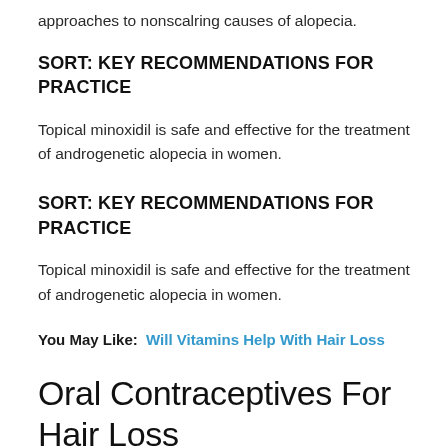approaches to nonscalring causes of alopecia.
SORT: KEY RECOMMENDATIONS FOR PRACTICE
Topical minoxidil is safe and effective for the treatment of androgenetic alopecia in women.
SORT: KEY RECOMMENDATIONS FOR PRACTICE
Topical minoxidil is safe and effective for the treatment of androgenetic alopecia in women.
You May Like:  Will Vitamins Help With Hair Loss
Oral Contraceptives For Hair Loss